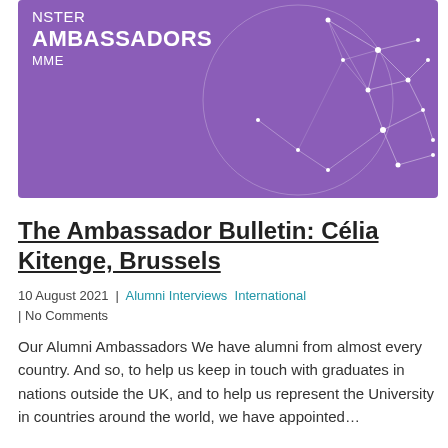[Figure (illustration): Purple banner with white text reading 'NSTER AMBASSADORS MME' and a white network/globe diagram on the right side]
The Ambassador Bulletin: Célia Kitenge, Brussels
10 August 2021 | Alumni Interviews International | No Comments
Our Alumni Ambassadors We have alumni from almost every country. And so, to help us keep in touch with graduates in nations outside the UK, and to help us represent the University in countries around the world, we have appointed…